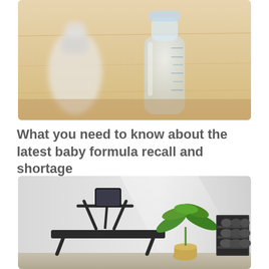[Figure (photo): Close-up photo of baby bottles on a wooden surface. A clear plastic baby bottle with measurement markings and a white baby bottle with a nipple are visible on a light wood grain background.]
What you need to know about the latest baby formula recall and shortage
[Figure (photo): Photo of a home gym setup featuring a sleek black treadmill with a tablet screen mount, a green potted tropical plant, and a rack of dumbbells against a light gray wall with diagonal lighting.]